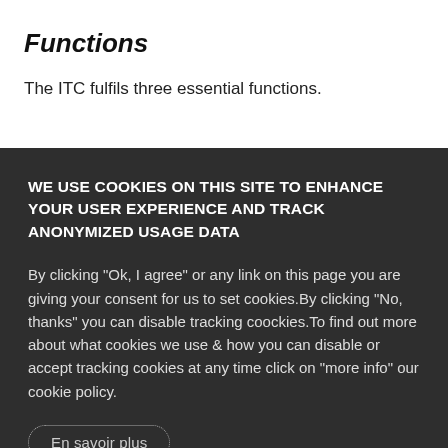Functions
The ITC fulfils three essential functions.
WE USE COOKIES ON THIS SITE TO ENHANCE YOUR USER EXPERIENCE AND TRACK ANONYMIZED USAGE DATA
By clicking "Ok, I agree" or any link on this page you are giving your consent for us to set cookies.By clicking "No, thanks" you can disable tracking coockies.To find out more about what cookies we use & how you can disable or accept tracking cookies at any time click on "more info" our cookie policy.
En savoir plus